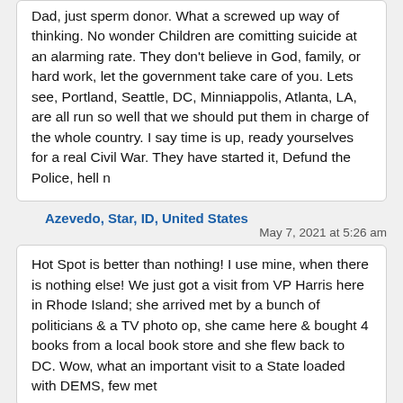Dad, just sperm donor. What a screwed up way of thinking. No wonder Children are comitting suicide at an alarming rate. They don't believe in God, family, or hard work, let the government take care of you. Lets see, Portland, Seattle, DC, Minniappolis, Atlanta, LA, are all run so well that we should put them in charge of the whole country. I say time is up, ready yourselves for a real Civil War. They have started it, Defund the Police, hell n
Azevedo, Star, ID, United States
May 7, 2021 at 5:26 am
Hot Spot is better than nothing! I use mine, when there is nothing else! We just got a visit from VP Harris here in Rhode Island; she arrived met by a bunch of politicians & a TV photo op, she came here & bought 4 books from a local book store and she flew back to DC. Wow, what an important visit to a State loaded with DEMS, few met